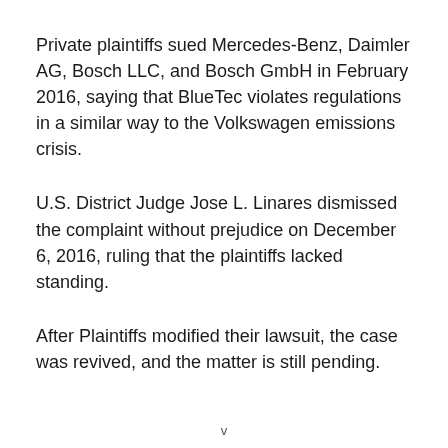Private plaintiffs sued Mercedes-Benz, Daimler AG, Bosch LLC, and Bosch GmbH in February 2016, saying that BlueTec violates regulations in a similar way to the Volkswagen emissions crisis.
U.S. District Judge Jose L. Linares dismissed the complaint without prejudice on December 6, 2016, ruling that the plaintiffs lacked standing.
After Plaintiffs modified their lawsuit, the case was revived, and the matter is still pending.
v